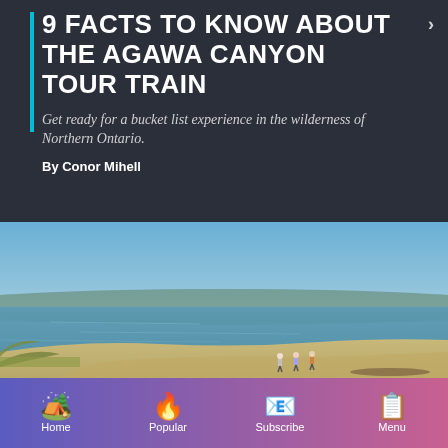9 FACTS TO KNOW ABOUT THE AGAWA CANYON TOUR TRAIN
Get ready for a bucket list experience in the wilderness of Northern Ontario.
By Conor Mihell
[Figure (photo): A sandy beach shoreline with several people walking near the water's edge; calm blue lake and distant forested hills under a clear sky]
Home   Popular   Subscribe   Menu